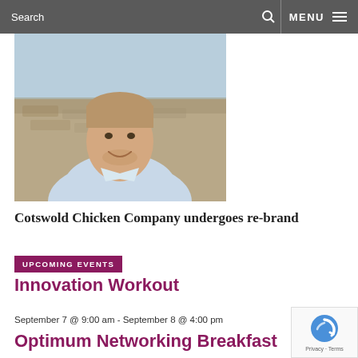Search  MENU
[Figure (photo): Portrait photo of a smiling young man in a light blue polo shirt, with a stone wall background outdoors]
Cotswold Chicken Company undergoes re-brand
UPCOMING EVENTS
Innovation Workout
September 7 @ 9:00 am - September 8 @ 4:00 pm
Optimum Networking Breakfast